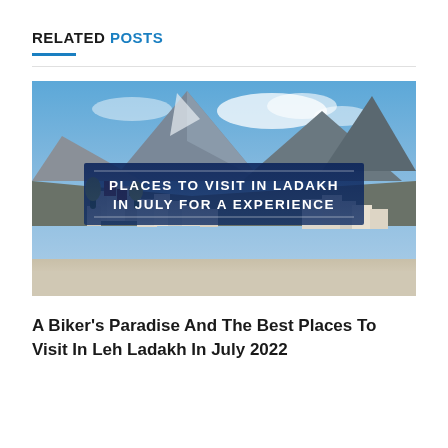RELATED POSTS
[Figure (photo): A Himalayan monastery complex with white multi-storey buildings nestled against rocky mountains under a blue sky with clouds, with text overlay reading 'PLACES TO VISIT IN LADAKH IN JULY FOR A EXPERIENCE']
A Biker's Paradise And The Best Places To Visit In Leh Ladakh In July 2022